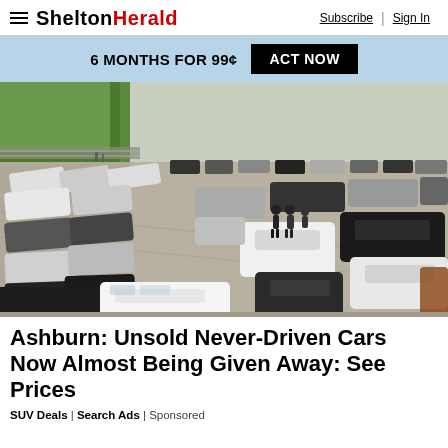SHELTONHERALD — Subscribe | Sign In
6 MONTHS FOR 99¢  ACT NOW
[Figure (photo): Aerial view of a crowded car dealership lot showing rows of unsold new cars parked closely together, with two people standing in the middle of the lot]
Ashburn: Unsold Never-Driven Cars Now Almost Being Given Away: See Prices
SUV Deals | Search Ads | Sponsored